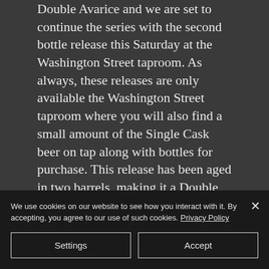Double Avarice and we are set to continue the series with the second bottle release this Saturday at the Washington Street taproom. As always, these releases are only available the Washington Street taproom where you will also find a small amount of the Single Cask beer on tap along with bottles for purchase. This release has been aged in two barrels, making it a Double Cask of the imperial series...
We use cookies on our website to see how you interact with it. By accepting, you agree to our use of such cookies. Privacy Policy